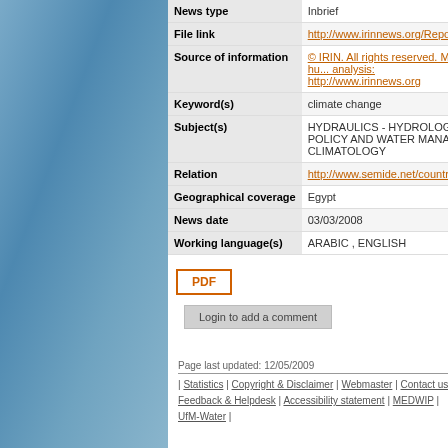| Field | Value |
| --- | --- |
| News type | Inbrief |
| File link | http://www.irinnews.org/Report.aspx |
| Source of information | © IRIN. All rights reserved. More hu... analysis: http://www.irinnews.org |
| Keyword(s) | climate change |
| Subject(s) | HYDRAULICS - HYDROLOGY , PO... POLICY AND WATER MANAGEME... CLIMATOLOGY |
| Relation | http://www.semide.net/countries/fol7 |
| Geographical coverage | Egypt |
| News date | 03/03/2008 |
| Working language(s) | ARABIC , ENGLISH |
PDF
Login to add a comment
Page last updated: 12/05/2009 | Statistics | Copyright & Disclaimer | Webmaster | Contact us | Feedback & Helpdesk | Accessibility statement | MEDWIP | UfM-Water |